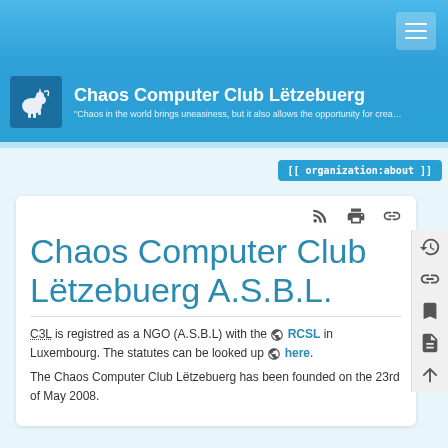Chaos Computer Club Lëtzebuerg — "Chaos in the world brings uneasiness, but it also allows the opportunity for crea..."
[[ organization:about ]]
Chaos Computer Club Lëtzebuerg A.S.B.L.
C3L is registred as a NGO (A.S.B.L) with the RCSL in Luxembourg. The statutes can be looked up here.
The Chaos Computer Club Lëtzebuerg has been founded on the 23rd of May 2008.